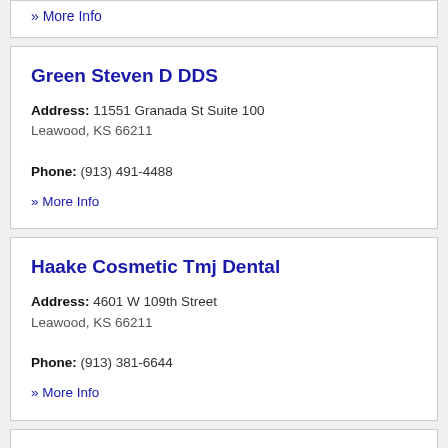» More Info
Green Steven D DDS
Address: 11551 Granada St Suite 100
Leawood, KS 66211
Phone: (913) 491-4488
» More Info
Haake Cosmetic Tmj Dental
Address: 4601 W 109th Street
Leawood, KS 66211
Phone: (913) 381-6644
» More Info